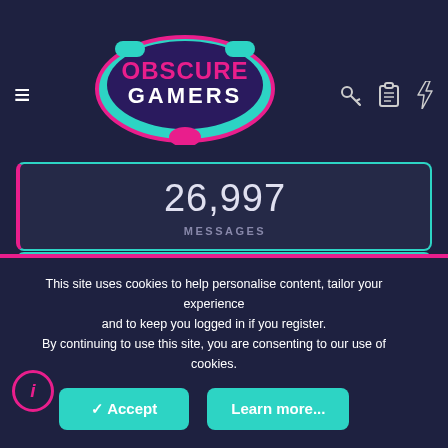[Figure (logo): Obscure Gamers logo with controller icon and teal/pink colors]
26,997
MESSAGES
8,197
MEMBERS
StonelessKitty
LATEST MEMBER
This site uses cookies to help personalise content, tailor your experience and to keep you logged in if you register.
By continuing to use this site, you are consenting to our use of cookies.